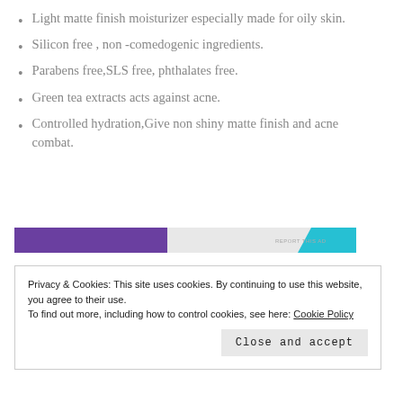Light matte finish moisturizer especially made for oily skin.
Silicon free , non -comedogenic ingredients.
Parabens free,SLS free, phthalates free.
Green tea extracts acts against acne.
Controlled hydration,Give non shiny matte finish and acne combat.
[Figure (other): Advertisement banner with purple triangle on left and blue shape on right, with 'REPORT THIS AD' text]
Privacy & Cookies: This site uses cookies. By continuing to use this website, you agree to their use.
To find out more, including how to control cookies, see here: Cookie Policy
Close and accept